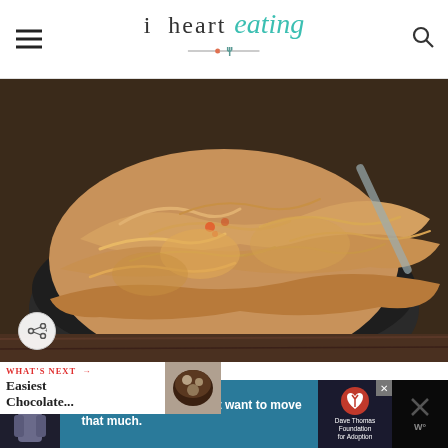i heart eating
[Figure (photo): Close-up photo of shredded chicken in a dark bowl on a wooden surface, with a fork visible in the background]
WHAT'S NEXT → Easiest Chocolate...
[Figure (photo): Thumbnail image of chocolate dessert for What's Next section]
[Figure (photo): Advertisement banner featuring a young man with quote: I moved a bunch. I didn't want to move that much. Dave Thomas Foundation for Adoption logo.]